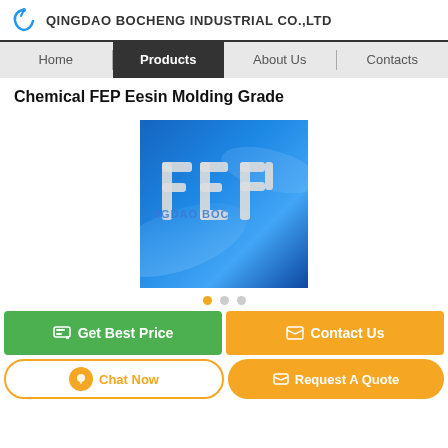QINGDAO BOCHENG INDUSTRIAL CO.,LTD
Home | Products | About Us | Contacts
Chemical FEP Eesin Molding Grade
[Figure (photo): Product photo showing FEP letters formed from white granular resin material on a blue background, with watermark text NGDAO BOCHENG]
Get Best Price | Contact Us
Chat Now | Request A Quote